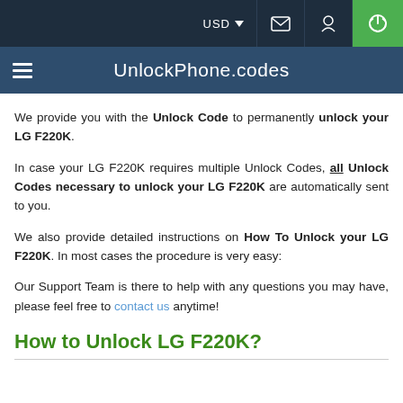USD | [mail icon] | [location icon] | [power icon]
UnlockPhone.codes
We provide you with the Unlock Code to permanently unlock your LG F220K.
In case your LG F220K requires multiple Unlock Codes, all Unlock Codes necessary to unlock your LG F220K are automatically sent to you.
We also provide detailed instructions on How To Unlock your LG F220K. In most cases the procedure is very easy:
Our Support Team is there to help with any questions you may have, please feel free to contact us anytime!
How to Unlock LG F220K?